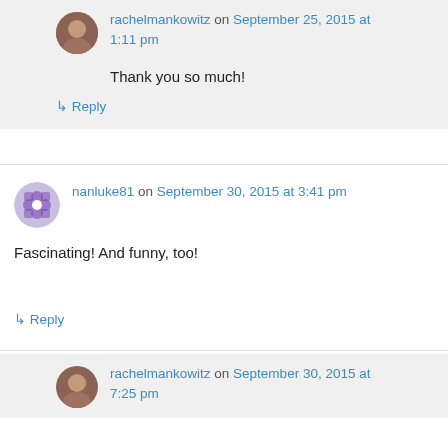rachelmankowitz on September 25, 2015 at 1:11 pm
Thank you so much!
↳ Reply
nanluke81 on September 30, 2015 at 3:41 pm
Fascinating! And funny, too!
↳ Reply
rachelmankowitz on September 30, 2015 at 7:25 pm